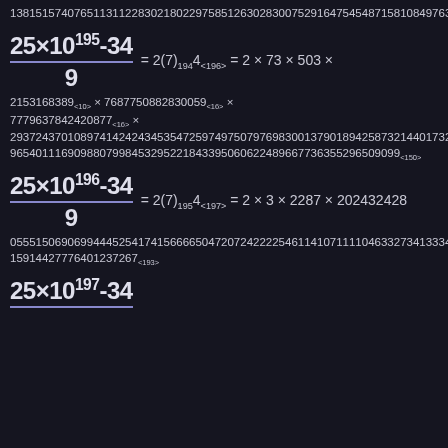138151574076511311228302180229758512630283007529164754548715810849763016425970692233939389<177>